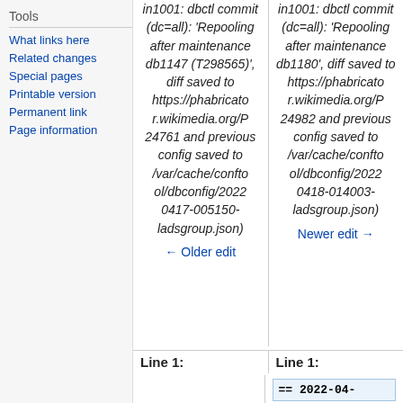Tools
What links here
Related changes
Special pages
Printable version
Permanent link
Page information
in1001: dbctl commit (dc=all): 'Repooling after maintenance db1147 (T298565)', diff saved to https://phabricator.wikimedia.org/P24761 and previous config saved to /var/cache/conftool/dbconfig/20220417-005150-ladsgroup.json)
← Older edit
in1001: dbctl commit (dc=all): 'Repooling after maintenance db1180', diff saved to https://phabricator.wikimedia.org/P24982 and previous config saved to /var/cache/conftool/dbconfig/20220418-014003-ladsgroup.json)
Newer edit →
Line 1:
Line 1:
== 2022-04-